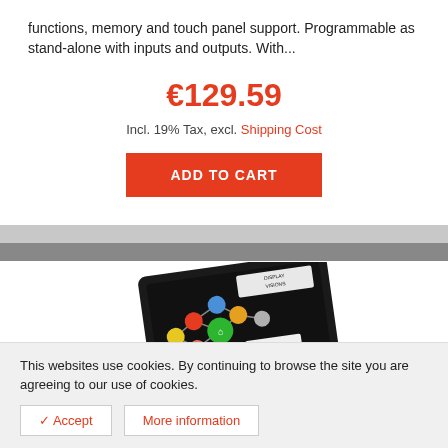functions, memory and touch panel support. Programmable as stand-alone with inputs and outputs. With...
€129.59
Incl. 19% Tax, excl. Shipping Cost
ADD TO CART
[Figure (photo): A black touchscreen device showing colorful navigation/UI circles with a display visions logo and temperature reading 23.5°C]
This websites use cookies. By continuing to browse the site you are agreeing to our use of cookies.
✓ Accept
More information